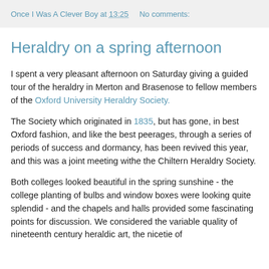Once I Was A Clever Boy at 13:25    No comments:
Heraldry on a spring afternoon
I spent a very pleasant afternoon on Saturday giving a guided tour of the heraldry in Merton and Brasenose to fellow members of the Oxford University Heraldry Society.
The Society which originated in 1835, but has gone, in best Oxford fashion, and like the best peerages, through a series of periods of success and dormancy, has been revived this year, and this was a joint meeting withe the Chiltern Heraldry Society.
Both colleges looked beautiful in the spring sunshine - the college planting of bulbs and window boxes were looking quite splendid - and the chapels and halls provided some fascinating points for discussion. We considered the variable quality of nineteenth century heraldic art, the nicetie of